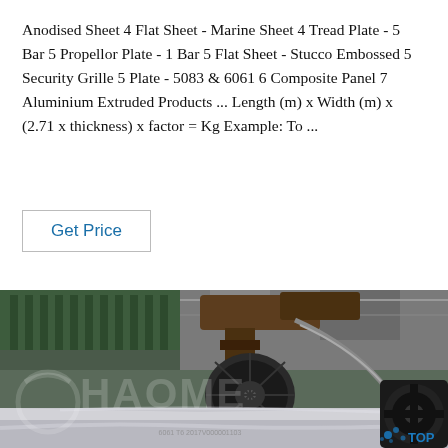Anodised Sheet 4 Flat Sheet - Marine Sheet 4 Tread Plate - 5 Bar 5 Propellor Plate - 1 Bar 5 Flat Sheet - Stucco Embossed 5 Security Grille 5 Plate - 5083 & 6061 6 Composite Panel 7 Aluminium Extruded Products ... Length (m) x Width (m) x (2.71 x thickness) x factor = Kg Example: To ...
Get Price
[Figure (photo): Industrial photo of aluminium sheet processing machinery in a factory. A large circular disc/grinding tool is mounted on a robotic arm over a shiny aluminium sheet. The sheet has a watermark logo reading 'HAOME'. In the bottom right corner is a 'TOP' logo with blue water droplets. The background shows green factory equipment.]